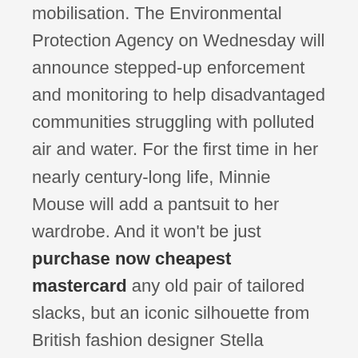mobilisation. The Environmental Protection Agency on Wednesday will announce stepped-up enforcement and monitoring to help disadvantaged communities struggling with polluted air and water. For the first time in her nearly century-long life, Minnie Mouse will add a pantsuit to her wardrobe. And it won't be just purchase now cheapest mastercard any old pair of tailored slacks, but an iconic silhouette from British fashion designer Stella McCartney. The hit HBO shows maximalist, era-jumping soundtrack is unconcerned with realism, packing in dozens of songs, from the underground to the instantly recognizable. Hotel Splendide Royal Paris occupies a 19th-century mansion house - and has just 12 suites. Ted Thornhill checked in and stayed inthe cheapest aclasta order now australia Suite Elysee, 'a haven of hushed elegance'. MYHockey Rankings actually keeps track. Coaches say the website helps them find